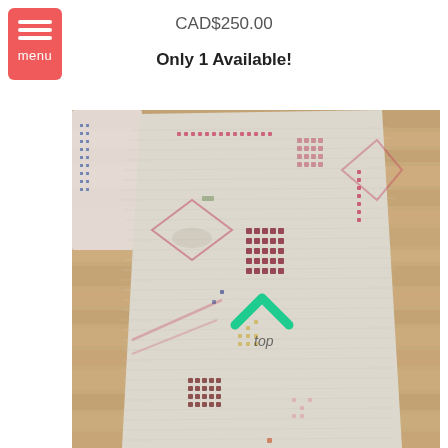[Figure (other): Red/coral hamburger menu button with three white horizontal lines and 'menu' label, on a white background]
CAD$250.00
Only 1 Available!
[Figure (photo): Photo of a Moroccan-style handwoven rug laid on a wood floor. The rug is cream/off-white with geometric patterns in red, pink, dark red/maroon, and accent colors. It has fringe at the top. A teal/green arrow chevron pointing up with the word 'top' is overlaid on the rug. Another rug is partially visible in the top left corner.]